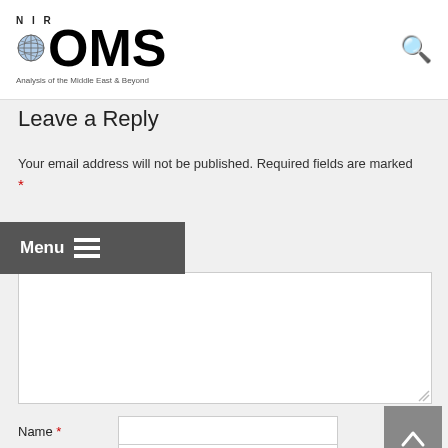NIR BOMS - Analysis of the Middle East & Beyond
Leave a Reply
Your email address will not be published. Required fields are marked *
[Figure (screenshot): Menu navigation bar overlay with hamburger icon lines]
[Figure (screenshot): Large comment text area input box]
Name *
Email *